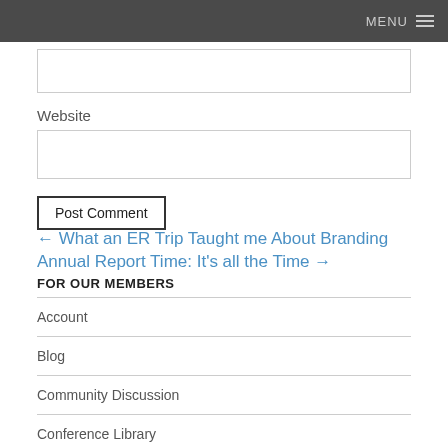MENU
Website
Post Comment
← What an ER Trip Taught me About Branding
Annual Report Time: It's all the Time →
FOR OUR MEMBERS
Account
Blog
Community Discussion
Conference Library
Counsel Magazine